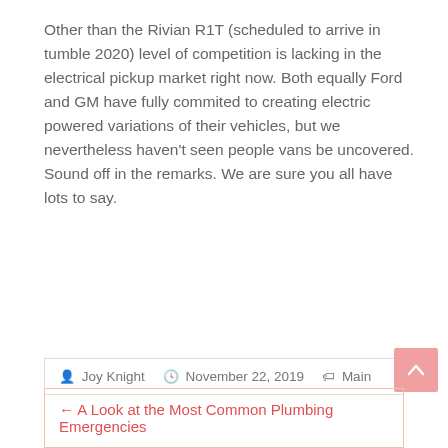Other than the Rivian R1T (scheduled to arrive in tumble 2020) level of competition is lacking in the electrical pickup market right now. Both equally Ford and GM have fully commited to creating electric powered variations of their vehicles, but we nevertheless haven't seen people vans be uncovered. Sound off in the remarks. We are sure you all have lots to say.
Supply link
Joy Knight  November 22, 2019  Main
← A Look at the Most Common Plumbing Emergencies